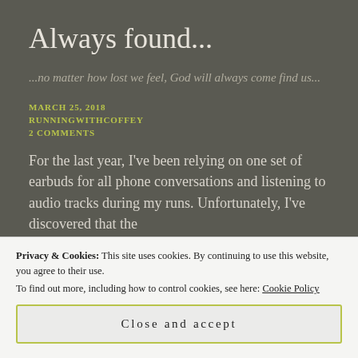Always found...
...no matter how lost we feel, God will always come find us...
MARCH 25, 2018
RUNNINGWITHCOFFEY
2 COMMENTS
For the last year, I've been relying on one set of earbuds for all phone conversations and listening to audio tracks during my runs. Unfortunately, I've discovered that the
Privacy & Cookies: This site uses cookies. By continuing to use this website, you agree to their use.
To find out more, including how to control cookies, see here: Cookie Policy
Close and accept